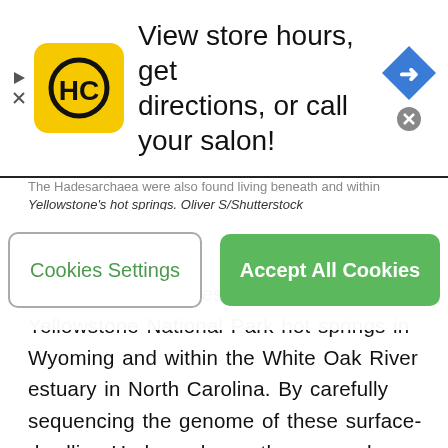[Figure (screenshot): Advertisement banner for a salon/hair care service (HC logo in yellow square). Text reads: 'View store hours, get directions, or call your salon!' with a blue navigation diamond icon and close button on the right.]
Cookies Settings
Accept All Cookies
The Hadesarchaea were also found living beneath and within Yellowstone's hot springs. Oliver S/Shutterstock
These extremophiles are also found in the Yellowstone National Park hot springs in Wyoming and within the White Oak River estuary in North Carolina. By carefully sequencing the genome of these surface-dwelling Hadesarchaea, the researchers were able to identify key genes responsible for controlling metabolic processes.